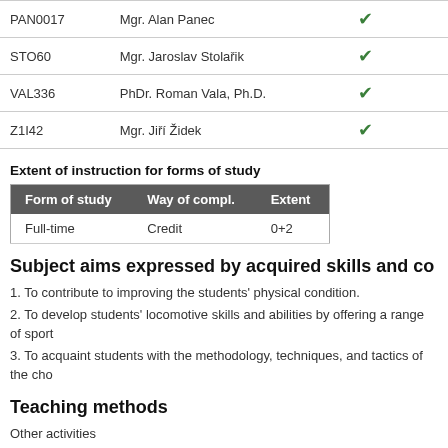| Code | Name |  |
| --- | --- | --- |
| PAN0017 | Mgr. Alan Panec | ✓ |
| STO60 | Mgr. Jaroslav Stolařik | ✓ |
| VAL336 | PhDr. Roman Vala, Ph.D. | ✓ |
| Z1I42 | Mgr. Jiří Židek | ✓ |
Extent of instruction for forms of study
| Form of study | Way of compl. | Extent |
| --- | --- | --- |
| Full-time | Credit | 0+2 |
Subject aims expressed by acquired skills and co
1. To contribute to improving the students' physical condition.
2. To develop students' locomotive skills and abilities by offering a range of sport
3. To acquaint students with the methodology, techniques, and tactics of the cho
Teaching methods
Other activities
Summary
Learning outcomes of the course is to increase the physical fitness of students, deals with competition rules, training methodology, technique and tactics of sele